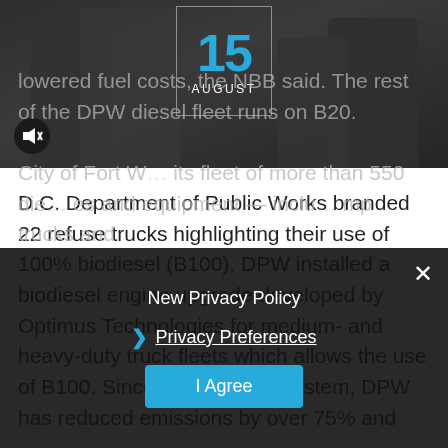[Figure (photo): Dark background image of people in suits with a calendar box overlay showing '15 AUGUST' in blue/white text, and a mute button icon in the lower left]
D.C. Department of Public Works branded 22 refuse trucks highlighting their use of 100% biodiesel (B100). DPW installed a biodiesel engine upgrade developed by Optimus Technologies for medium- and heavy-duty truck fleets which allows the use of B100. Since installing the system, DPW has reduced emissions by over 75% and lowered fuel costs, the NBB said. The rest of the DPW diesel fleet runs on B20.
City of Fort W… its fleet of more than 550 die… es and equipment — inclu… mp trucks and
New Privacy Policy
Privacy Preferences
I Agree